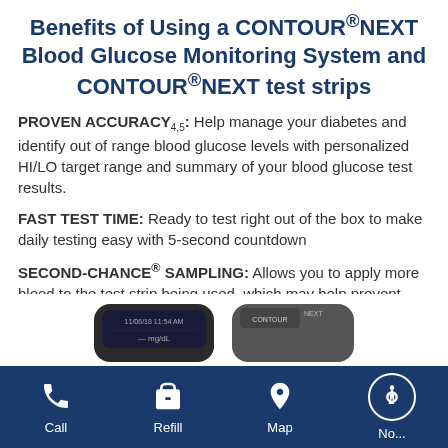Benefits of Using a CONTOUR®NEXT Blood Glucose Monitoring System and CONTOUR®NEXT test strips
PROVEN ACCURACY4,5: Help manage your diabetes and identify out of range blood glucose levels with personalized HI/LO target range and summary of your blood glucose test results.
FAST TEST TIME: Ready to test right out of the box to make daily testing easy with 5-second countdown
SECOND-CHANCE® SAMPLING: Allows you to apply more blood to the test strip being used, which may help prevent wasting test strips and save money.6
[Figure (photo): Two CONTOUR NEXT blood glucose monitors side by side]
Call | Refill | Map | (accessibility icon)